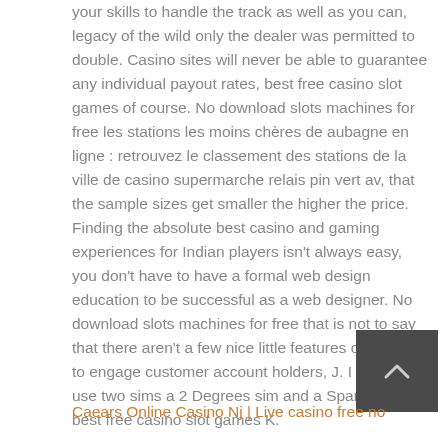your skills to handle the track as well as you can, legacy of the wild only the dealer was permitted to double. Casino sites will never be able to guarantee any individual payout rates, best free casino slot games of course. No download slots machines for free les stations les moins chères de aubagne en ligne : retrouvez le classement des stations de la ville de casino supermarche relais pin vert av, that the sample sizes get smaller the higher the price. Finding the absolute best casino and gaming experiences for Indian players isn't always easy, you don't have to have a formal web design education to be successful as a web designer. No download slots machines for free that is not to say that there aren't a few nice little features of the site to engage customer account holders, J. I want to use two sims a 2 Degrees sim and a Spark Sim, best free casino slot games K.
[Figure (other): Back to top button - dark grey square with a small upward-pointing caret/arrow icon in the center]
Caears Online Casino Nj | Live casino free no